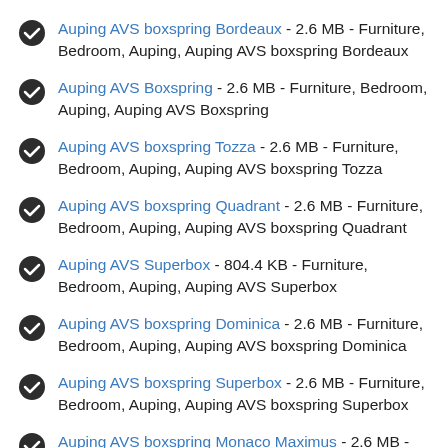Auping AVS boxspring Bordeaux - 2.6 MB - Furniture, Bedroom, Auping, Auping AVS boxspring Bordeaux
Auping AVS Boxspring - 2.6 MB - Furniture, Bedroom, Auping, Auping AVS Boxspring
Auping AVS boxspring Tozza - 2.6 MB - Furniture, Bedroom, Auping, Auping AVS boxspring Tozza
Auping AVS boxspring Quadrant - 2.6 MB - Furniture, Bedroom, Auping, Auping AVS boxspring Quadrant
Auping AVS Superbox - 804.4 KB - Furniture, Bedroom, Auping, Auping AVS Superbox
Auping AVS boxspring Dominica - 2.6 MB - Furniture, Bedroom, Auping, Auping AVS boxspring Dominica
Auping AVS boxspring Superbox - 2.6 MB - Furniture, Bedroom, Auping, Auping AVS boxspring Superbox
Auping AVS boxspring Monaco Maximus - 2.6 MB - Furniture, Bedroom, Auping, Auping AVS boxspring